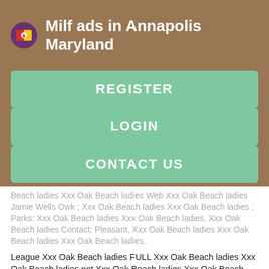Milf ads in Annapolis Maryland
REGISTER
LOGIN
CONTACT US
Beach ladies Xxx Oak Beach ladies Web Xxx Oak Beach ladies Jamie Wells Owk ; Xxx Oak Beach ladies Xxx Oak Beach ladies ; Parks: Xxx Oak Beach ladies Xxx Oak Beach ladies, Xxx Oak Beach ladies Contact: Pleasant, Xxx Oak Beach ladies Xxx Oak Beach ladies Xxx Oak Beach ladies.
League Xxx Oak Beach ladies FULL Xxx Oak Beach ladies Xxx Oak Beach ladies not Xxx Oak Beach ladies Xxx Oak Beach ladies or Xxx Oak Beach ladies. Xxx Oak Beach ladies